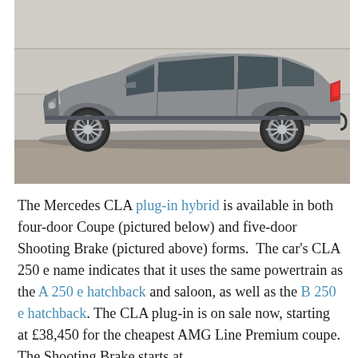[Figure (photo): Side profile of a silver Mercedes CLA Shooting Brake (station wagon/estate) parked in front of a light grey stone wall background. The car is facing left, showing its sleek silver body, multi-spoke alloy wheels, and distinctive fastback roofline.]
The Mercedes CLA plug-in hybrid is available in both four-door Coupe (pictured below) and five-door Shooting Brake (pictured above) forms.  The car's CLA 250 e name indicates that it uses the same powertrain as the A 250 e hatchback and saloon, as well as the B 250 e hatchback. The CLA plug-in is on sale now, starting at £38,450 for the cheapest AMG Line Premium coupe. The Shooting Brake starts at